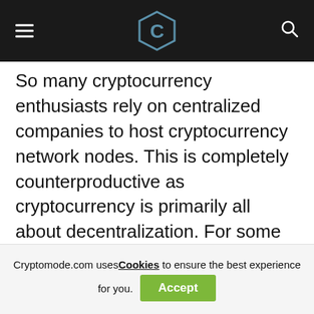Cryptomode logo navigation bar
So many cryptocurrency enthusiasts rely on centralized companies to host cryptocurrency network nodes. This is completely counterproductive as cryptocurrency is primarily all about decentralization. For some reason, people prefer a convenient and easy solution regardless of the impact it may have on the network itself.
As is always the case, comments like these need to be taken with a grain of salt. There will
Cryptomode.com uses Cookies to ensure the best experience for you. Accept